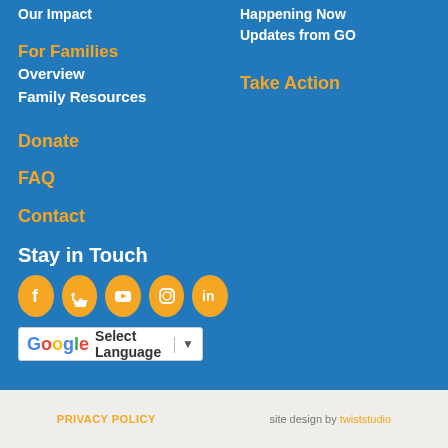Our Impact
For Families
Overview
Family Resources
Donate
FAQ
Contact
Happening Now
Updates from GO
Take Action
Stay in Touch
[Figure (infographic): Row of 5 social media icons (Facebook, Twitter, YouTube, Instagram, LinkedIn) as gold circles with white icons]
[Figure (infographic): Google Translate widget bar showing Google G logo, Select Language text, and dropdown arrow]
PRIVACY POLICY   site design by twiststudio